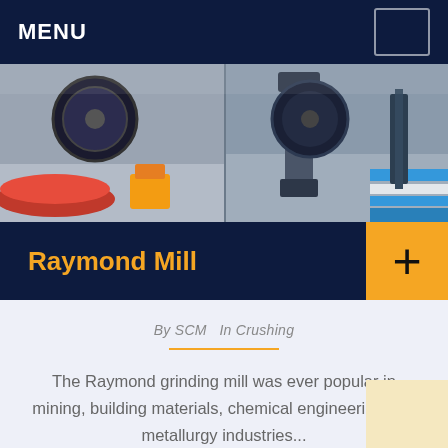MENU
[Figure (photo): Industrial machinery showroom with large grinding/mill equipment on display floor, colorful circular displays, metal presses and industrial machines]
Raymond Mill
By SCM  In Crushing
The Raymond grinding mill was ever popular in mining, building materials, chemical engineering and metallurgy industries...